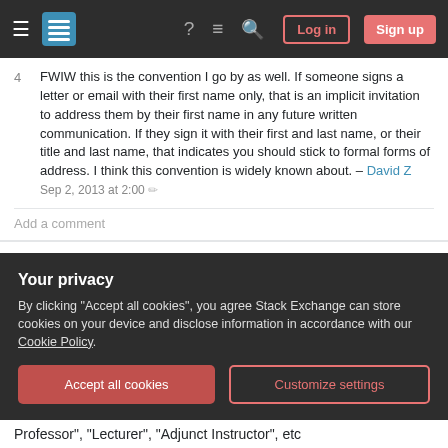Stack Exchange navigation bar with Log in and Sign up buttons
4 FWIW this is the convention I go by as well. If someone signs a letter or email with their first name only, that is an implicit invitation to address them by their first name in any future written communication. If they sign it with their first and last name, or their title and last name, that indicates you should stick to formal forms of address. I think this convention is widely known about. – David Z Sep 2, 2013 at 2:00
Add a comment
This is a sticky question. Preferences for academic titles varies between countries, institutions and
Your privacy
By clicking "Accept all cookies", you agree Stack Exchange can store cookies on your device and disclose information in accordance with our Cookie Policy.
Accept all cookies
Customize settings
Professor", "Lecturer", "Adjunct Instructor", etc